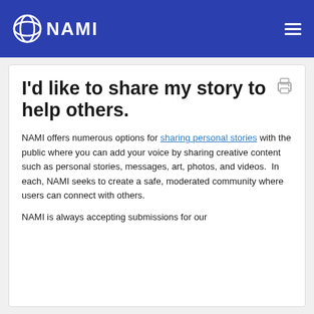NAMI
I'd like to share my story to help others.
NAMI offers numerous options for sharing personal stories with the public where you can add your voice by sharing creative content such as personal stories, messages, art, photos, and videos.  In each, NAMI seeks to create a safe, moderated community where users can connect with others.
NAMI is always accepting submissions for our